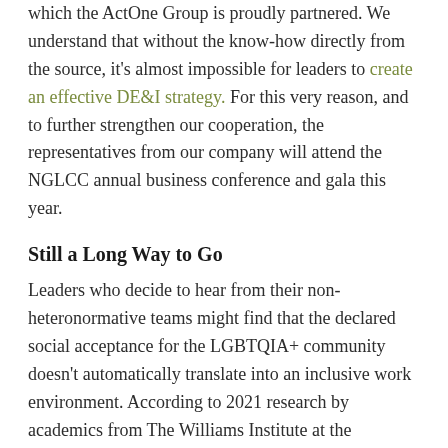which the ActOne Group is proudly partnered. We understand that without the know-how directly from the source, it's almost impossible for leaders to create an effective DE&I strategy. For this very reason, and to further strengthen our cooperation, the representatives from our company will attend the NGLCC annual business conference and gala this year.
Still a Long Way to Go
Leaders who decide to hear from their non-heteronormative teams might find that the declared social acceptance for the LGBTQIA+ community doesn't automatically translate into an inclusive work environment. According to 2021 research by academics from The Williams Institute at the University of UCLA School of Law, 50.4 percent of non-heteronormative American workers are still